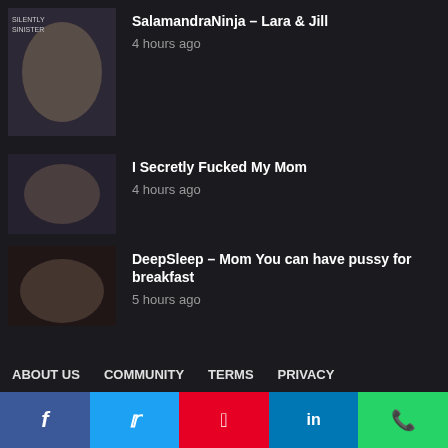SalamandraNinja – Lara & Jill
4 hours ago
I Secretly Fucked My Mom
4 hours ago
DeepSleep – Mom You can have pussy for breakfast
5 hours ago
ABOUT US  COMMUNITY  TERMS  PRIVACY
[Figure (other): Social share bar with Facebook, Twitter, Pinterest, LinkedIn, WhatsApp buttons]